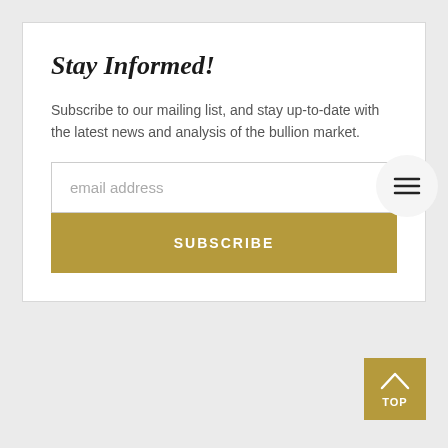Stay Informed!
Subscribe to our mailing list, and stay up-to-date with the latest news and analysis of the bullion market.
email address
SUBSCRIBE
TOP